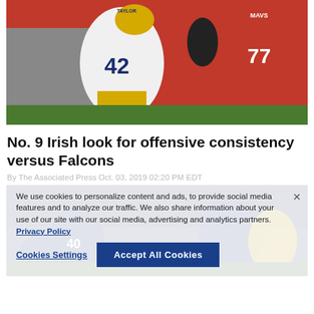[Figure (photo): Football game action photo: Notre Dame player #42 in white/gold uniform engaging with players in red uniforms, including player #77 labeled MAVS]
No. 9 Irish look for offensive consistency versus Falcons
By The Associated Press Oct. 03, 2019 02:20 PM EDT
We use cookies to personalize content and ads, to provide social media features and to analyze our traffic. We also share information about your use of our site with our social media, advertising and analytics partners. Privacy Policy
[Figure (photo): Football game photo used as background behind cookie consent overlay, showing Notre Dame players in blue/gold uniforms including player #40]
Cookies Settings   Accept All Cookies